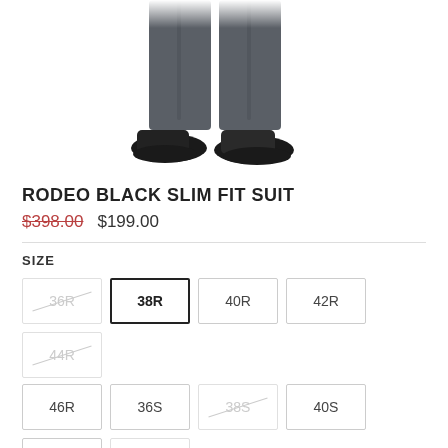[Figure (photo): Lower half of a man wearing dark charcoal slim fit suit trousers and black leather dress shoes, cropped at mid-thigh.]
RODEO BLACK SLIM FIT SUIT
$398.00  $199.00
SIZE
36R  38R  40R  42R  44R  46R  36S  38S  40S  42S  44S